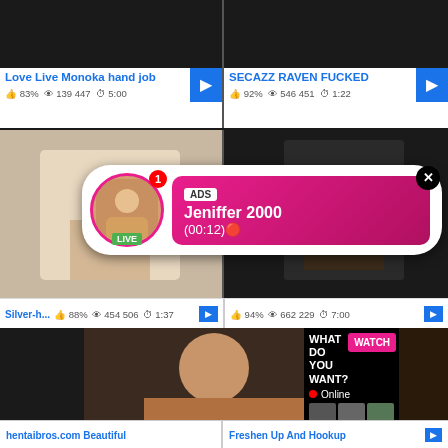[Figure (screenshot): Video thumbnail grid showing adult content website with video cards, stats, and overlay ads]
Love Live Monoka hand job
83% 139 447 5:00
SECAZZ RAVEN FUCKED
92% 546 451 1:22
ADS Jeniffer 2000 (00:12)
Silver-h... 88% 454 506 1:37
94% 662 229 7:00
WHAT DO YOU WANT?
Online
Cumming, ass fucking, squirt or...
• ADS
hentaibros.com Beautiful
Freshen Up And Hookup